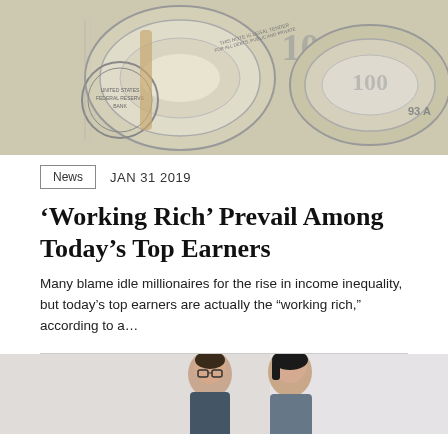[Figure (photo): Close-up photo of rolled US $100 dollar bills bundled with rubber bands, showing Federal Reserve text and bill details]
News   JAN 31 2019
‘Working Rich’ Prevail Among Today’s Top Earners
Many blame idle millionaires for the rise in income inequality, but today’s top earners are actually the “working rich,” according to a…
[Figure (photo): Photo of two people, a man with glasses and a woman, appearing to be in a professional/office setting]